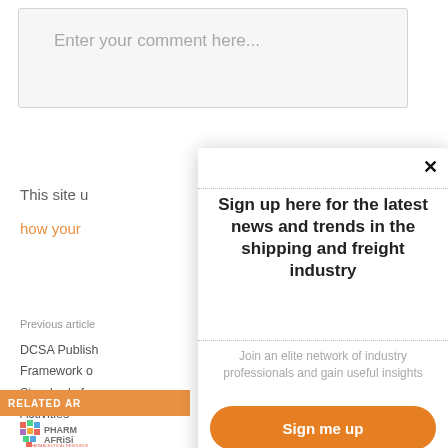Enter your comment here...
This site u
how your
Previous article
DCSA Publish
Framework c
Standards fo
Activities
RELATED AR
[Figure (logo): PHARM AFRISI pharmaceutical logo with colorful mosaic Africa continent icon, dated 12-15 Se]
Sign up here for the latest news and trends in the shipping and freight industry
Join an elite network of industry professionals and gain useful insights
Sign me up
No thanks, not right now